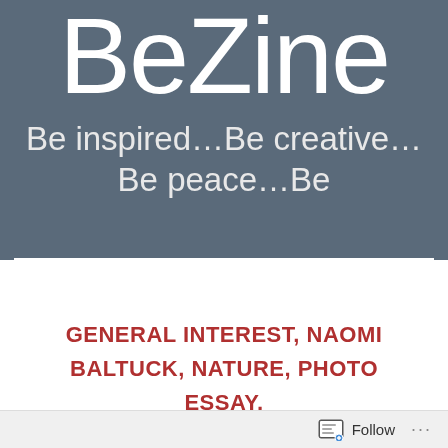BeZine
Be inspired...Be creative...Be peace...Be
GENERAL INTEREST, NAOMI BALTUCK, NATURE, PHOTO ESSAY, PHOTOGRAPHY/PHOTOGRAPHER, STORY, STORY TELLING, PHOTO
Follow ...